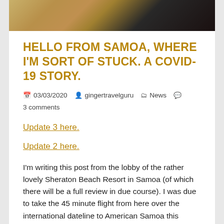[Figure (photo): Cropped photo showing sandy/desert background and dark hair, partially visible at top of page]
HELLO FROM SAMOA, WHERE I'M SORT OF STUCK. A COVID-19 STORY.
03/03/2020   gingertravelguru   News   3 comments
Update 3 here.
Update 2 here.
I'm writing this post from the lobby of the rather lovely Sheraton Beach Resort in Samoa (of which there will be a full review in due course). I was due to take the 45 minute flight from here over the international dateline to American Samoa this